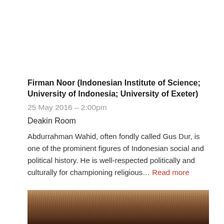Firman Noor (Indonesian Institute of Science; University of Indonesia; University of Exeter)
25 May 2016 – 2:00pm
Deakin Room
Abdurrahman Wahid, often fondly called Gus Dur, is one of the prominent figures of Indonesian social and political history. He is well-respected politically and culturally for championing religious… Read more
[Figure (photo): Partial photo of a person with dark curly hair, cropped at the bottom of the page]